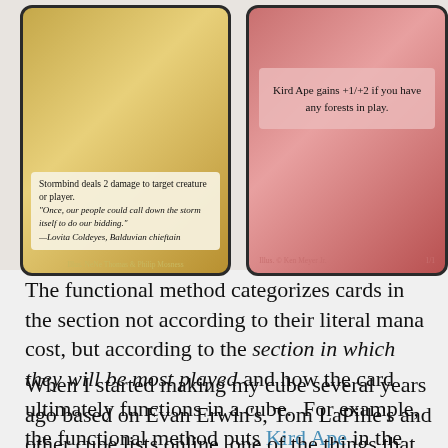[Figure (illustration): Two Magic: The Gathering cards side by side. Left card (Stormbind) has gold border with text box showing rules text and flavor text. Right card (Kird Ape) has red border with pink text box.]
The functional method categorizes cards in the section not according to their literal mana cost, but according to the section in which they will be most played and how the card ultimately functions in a cube.  For example, the functional method puts Kird Ape in the same red-green section as Stormbind.
When I started making my cube several years ago based on Evan Erwin's, Tom LaPille's and other cube lists online, one of the things that bothered me was the consideration